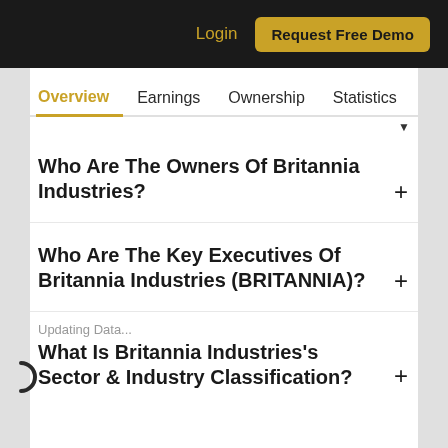Login | Request Free Demo
Overview   Earnings   Ownership   Statistics
Who Are The Owners Of Britannia Industries?
Who Are The Key Executives Of Britannia Industries (BRITANNIA)?
Updating Data...
What Is Britannia Industries's Sector & Industry Classification?